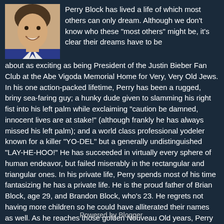[Figure (photo): Headshot photo of a man (Perry Block) smiling, with short dark hair, wearing a suit, against a light background.]
Perry Block has lived a life of which most others can only dream. Although we don't know who these "most others" might be, it's clear their dreams have to be about as exciting as being President of the Justin Bieber Fan Club at the Abe Vigoda Memorial Home for Very, Very Old Jews. In his one action-packed lifetime, Perry has been a rugged, briny sea-faring guy; a hunky dude given to slamming his right fist into his left palm while exclaiming "caution be damned, innocent lives are at stake!" (although frankly he has always missed his left palm); and a world class professional yodeler known for a killer "YO-DEL" but a generally undistinguished "LAY-HE-HOO!" He has succeeded in virtually every sphere of human endeavor, but failed miserably in the rectangular and triangular ones. In his private life, Perry spends most of his time fantasizing he has a private life. He is the proud father of Brian Block, age 29, and Brandon Block, who's 23. He regrets not having more children so he could have alliterated their names as well. As he reaches those golden Nouveau Old years, Perry says that he has no regrets. How could he? He's forgotten them all.
View my complete profile
Powered by Blogger.